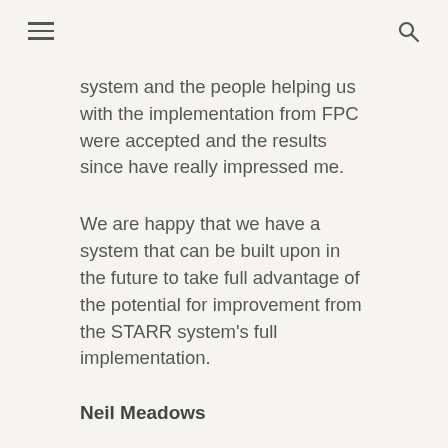☰  🔍
system and the people helping us with the implementation from FPC were accepted and the results since have really impressed me.
We are happy that we have a system that can be built upon in the future to take full advantage of the potential for improvement from the STARR system's full implementation.
Neil Meadows